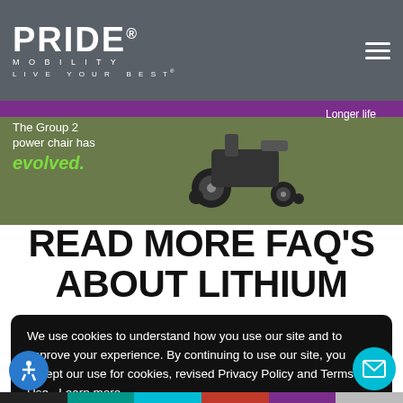PRIDE MOBILITY LIVE YOUR BEST
[Figure (screenshot): Pride Mobility website banner showing a power wheelchair on a green background with text 'The Group 2 power chair has evolved.' and 'Longer life']
READ MORE FAQ'S ABOUT LITHIUM
We use cookies to understand how you use our site and to improve your experience. By continuing to use our site, you accept our use for cookies, revised Privacy Policy and Terms of Use.  Learn more
Click Here to Accept